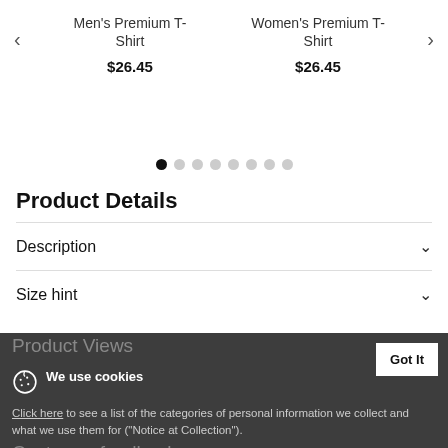[Figure (screenshot): Product carousel showing Men's Premium T-Shirt and Women's Premium T-Shirt, each priced at $26.45, with navigation arrows and dot indicators]
Product Details
Description
Size hint
Product Views
We use cookies
Click here to see a list of the categories of personal information we collect and what we use them for ("Notice at Collection").
Customer feedback
Privacy Policy
Do Not Sell My Personal Information
By using this website, I agree to the Terms and Conditions
Classic M...
Got It